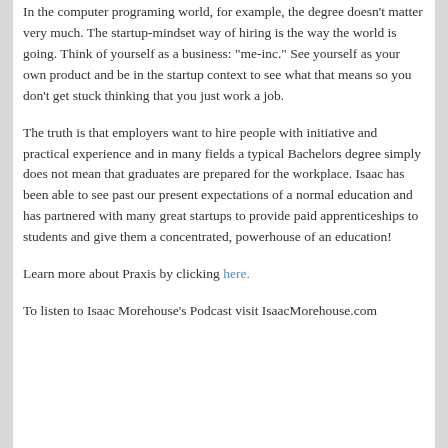In the computer programing world, for example, the degree doesn’t matter very much. The startup-mindset way of hiring is the way the world is going. Think of yourself as a business: “me-inc.” See yourself as your own product and be in the startup context to see what that means so you don’t get stuck thinking that you just work a job.
The truth is that employers want to hire people with initiative and practical experience and in many fields a typical Bachelors degree simply does not mean that graduates are prepared for the workplace. Isaac has been able to see past our present expectations of a normal education and has partnered with many great startups to provide paid apprenticeships to students and give them a concentrated, powerhouse of an education!
Learn more about Praxis by clicking here.
To listen to Isaac Morehouse’s Podcast visit IsaacMorehouse.com